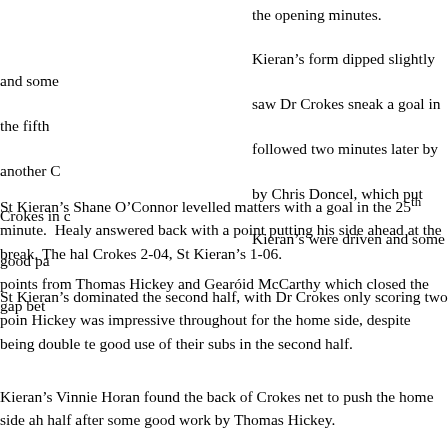the opening minutes.
Kieran's form dipped slightly and some saw Dr Crokes sneak a goal in the fifth followed two minutes later by another C by Chris Doncel, which put Crokes in c Kieran's were driven and some good pa points from Thomas Hickey and Gearóid McCarthy which closed the gap bet
St Kieran's Shane O'Connor levelled matters with a goal in the 25th minute. Healy answered back with a point putting his side ahead at the break. The hal Crokes 2-04, St Kieran's 1-06.
St Kieran's dominated the second half, with Dr Crokes only scoring two poin Hickey was impressive throughout for the home side, despite being double te good use of their subs in the second half.
Kieran's Vinnie Horan found the back of Crokes net to push the home side ah half after some good work by Thomas Hickey.